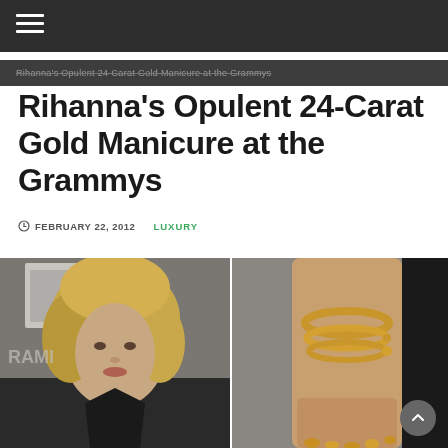Rihanna's Opulent 24-Carat Gold Manicure at the Grammys
Rihanna's Opulent 24-Carat Gold Manicure at the Grammys
FEBRUARY 22, 2012   LUXURY
[Figure (photo): Two side-by-side photos of Rihanna at the Grammys: left photo shows her face with curly blonde hair and deep-V black dress in front of Grammy backdrop; right photo shows her arm with gold coiled bracelet and gold nail manicure.]